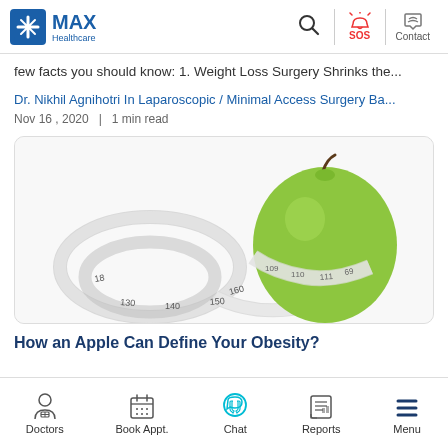MAX Healthcare | Search | SOS | Contact
few facts you should know: 1. Weight Loss Surgery Shrinks the...
Dr. Nikhil Agnihotri In Laparoscopic / Minimal Access Surgery Ba...
Nov 16 , 2020  |  1 min read
[Figure (photo): A green apple wrapped with a measuring tape, symbolizing obesity measurement.]
How an Apple Can Define Your Obesity?
Doctors | Book Appt. | Chat | Reports | Menu